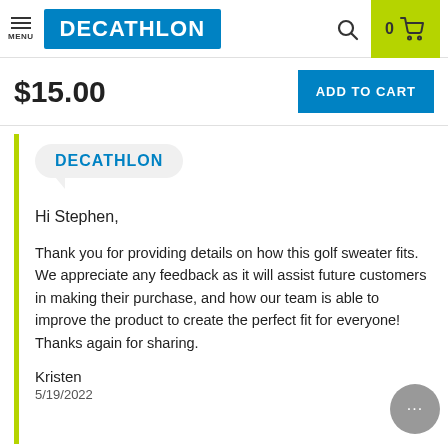MENU | DECATHLON | 0 (cart)
$15.00  ADD TO CART
[Figure (logo): Decathlon speech bubble logo]
Hi Stephen,
Thank you for providing details on how this golf sweater fits. We appreciate any feedback as it will assist future customers in making their purchase, and how our team is able to improve the product to create the perfect fit for everyone! Thanks again for sharing.
Kristen
5/19/2022